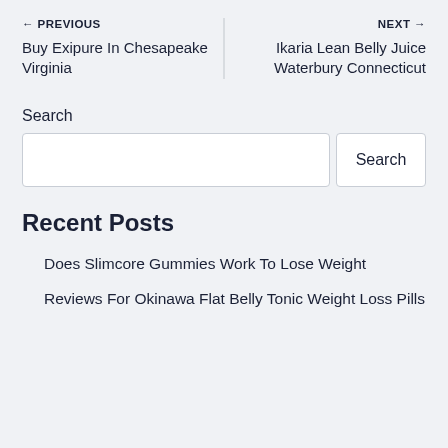← PREVIOUS
Buy Exipure In Chesapeake Virginia
NEXT →
Ikaria Lean Belly Juice Waterbury Connecticut
Search
Recent Posts
Does Slimcore Gummies Work To Lose Weight
Reviews For Okinawa Flat Belly Tonic Weight Loss Pills